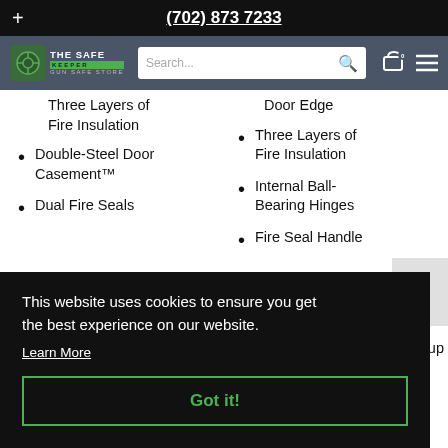+ (702) 873 7233
[Figure (logo): The Safe Keeper Gun Safe Store logo with green icon and search bar]
Three layers of Fire Insulation (partial, cut off at top)
Double-Steel Door Casement™
Dual Fire Seals
Door Edge (partial, right column, cut at top)
Three Layers of Fire Insulation
Internal Ball-Bearing Hinges
Fire Seal Handle (partial, cut off)
This website uses cookies to ensure you get the best experience on our website.
Learn More
Got it!
Diameter Door (partial, cut at bottom)
Champion's Auto- (partial, cut at bottom)